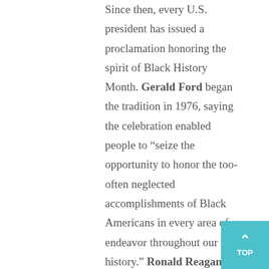Since then, every U.S. president has issued a proclamation honoring the spirit of Black History Month. Gerald Ford began the tradition in 1976, saying the celebration enabled people to “seize the opportunity to honor the too-often neglected accomplishments of Black Americans in every area of endeavor throughout our history.” Ronald Reagan’s first Black History Month proclamation stated that “understanding the history of Black Americans is a key to understanding the strength of our nation.”

In 2016, Barack Obama, the nation’s first Black president, made his last proclamation in honor of Woodson’s initiative, now recognized as one of the nation’s oldest